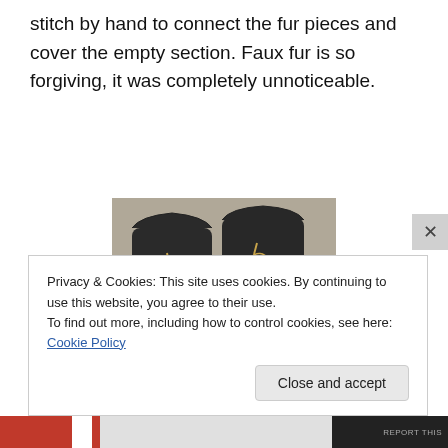stitch by hand to connect the fur pieces and cover the empty section. Faux fur is so forgiving, it was completely unnoticeable.
[Figure (photo): Two dark boots with gold floral/decorative embroidery pattern, standing side by side against a light wall background]
Privacy & Cookies: This site uses cookies. By continuing to use this website, you agree to their use.
To find out more, including how to control cookies, see here: Cookie Policy
Close and accept